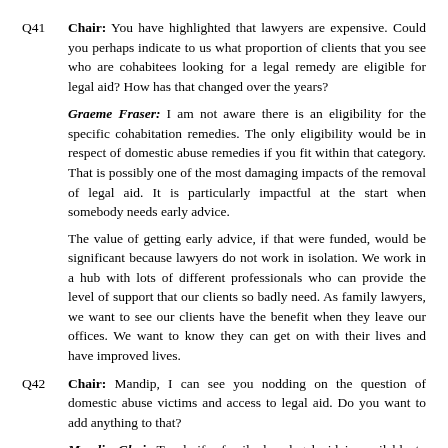Q41  Chair: You have highlighted that lawyers are expensive. Could you perhaps indicate to us what proportion of clients that you see who are cohabitees looking for a legal remedy are eligible for legal aid? How has that changed over the years?
Graeme Fraser: I am not aware there is an eligibility for the specific cohabitation remedies. The only eligibility would be in respect of domestic abuse remedies if you fit within that category. That is possibly one of the most damaging impacts of the removal of legal aid. It is particularly impactful at the start when somebody needs early advice.
The value of getting early advice, if that were funded, would be significant because lawyers do not work in isolation. We work in a hub with lots of different professionals who can provide the level of support that our clients so badly need. As family lawyers, we want to see our clients have the benefit when they leave our offices. We want to know they can get on with their lives and have improved lives.
Q42  Chair: Mandip, I can see you nodding on the question of domestic abuse victims and access to legal aid. Do you want to add anything to that?
Mandip Ghai: To clarify, family law legal aid is available to survivors who can produce specified types of evidence of that abuse, but survivors of coercive and controlling behaviour are less likely to be able to evidence domestic abuse. Even if they